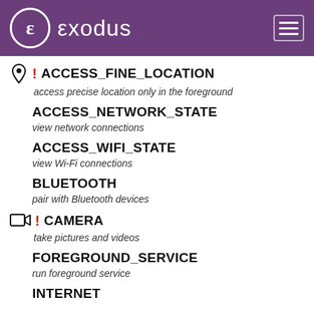exodus
ACCESS_FINE_LOCATION — access precise location only in the foreground
ACCESS_NETWORK_STATE — view network connections
ACCESS_WIFI_STATE — view Wi-Fi connections
BLUETOOTH — pair with Bluetooth devices
CAMERA — take pictures and videos
FOREGROUND_SERVICE — run foreground service
INTERNET